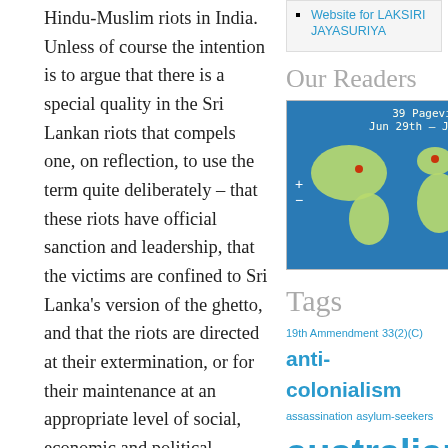Hindu-Muslim riots in India. Unless of course the intention is to argue that there is a special quality in the Sri Lankan riots that compels one, on reflection, to use the term quite deliberately – that these riots have official sanction and leadership, that the victims are confined to Sri Lanka's version of the ghetto, and that the riots are directed at their extermination, or for their maintenance at an appropriate level of social, economic and political subordination? Michael Roberts would have to admit that he has been grossly lax in his use of terms, or that he genuinely believes that the Tamil minority in Sri Lanka has been kept in an officially sanctioned state of subordination as second class or third class citizens as were the Jews of Central and Eastern Europe in the late 19th century. I prefer to believe that Michael Roberts has been very
Website for LAKSIRI JAYASURIYA
Our Readers
[Figure (map): World map showing 39 pageviews from Jun 29th to Jul 29th with red dots marking reader locations]
Tags
19th Ammendment  33(2)(C)  anti-colonialism  assassination  asylum-seekers  australian media  Australian mind-set  bbc sinhala service  Benedict Anderson  Black Tigers  boat people  british social